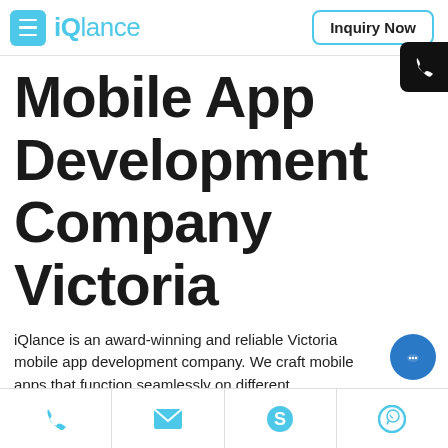[Figure (logo): iQlance logo with cyan hamburger menu icon and cyan text]
[Figure (screenshot): Inquiry Now button with cyan border]
Mobile App Development Company Victoria
iQlance is an award-winning and reliable Victoria mobile app development company. We craft mobile apps that function seamlessly on different smartphone screens.
[Figure (infographic): Footer navigation bar with phone, email, Skype, and WhatsApp icons in cyan]